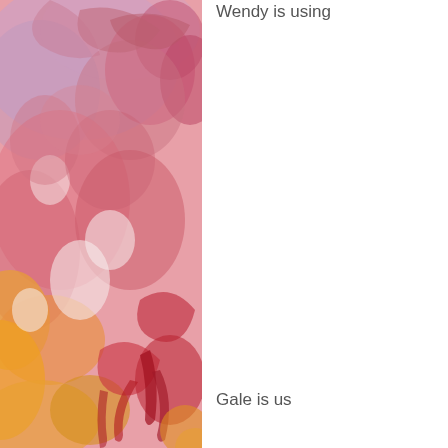[Figure (illustration): Watercolor painting with abstract floral forms in warm tones of pink, red, orange, and yellow with lavender accents, filling the left portion of the page.]
Wendy is using
Gale is us